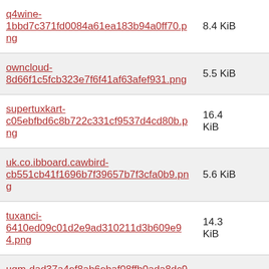| Filename | Size |
| --- | --- |
| q4wine-1bbd7c371fd0084a61ea183b94a0ff70.png | 8.4 KiB |
| owncloud-8d66f1c5fcb323e7f6f41af63afef931.png | 5.5 KiB |
| supertuxkart-c05ebfbd6c8b722c331cf9537d4cd80b.png | 16.4 KiB |
| uk.co.ibboard.cawbird-cb551cb41f1696b7f39657b7f3cfa0b9.png | 5.6 KiB |
| tuxanci-6410ed09c01d2e9ad310211d3b609e94.png | 14.3 KiB |
| uqm-dad37a4ef8ab6ebaf08ffb0ada8dc991.png | 3.2 KiB |
| tremulous-1b880421000fc1e60adc6d0850afddb8.png | 12.4 KiB |
| pronterface-5432d6239c6b1bf1e69b19d81743e9be.png | 6.1 KiB |